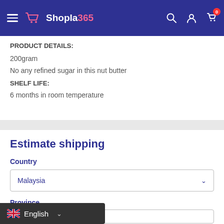Shopla365 navigation header
PRODUCT DETAILS:
200gram
No any refined sugar in this nut butter
SHELF LIFE:
6 months in room temperature
Estimate shipping
Country
Malaysia
Province